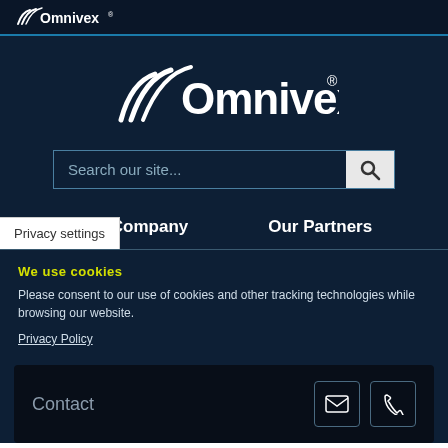Omnivex
[Figure (logo): Omnivex logo with stylized swoosh marks, white text on dark navy background]
Search our site...
Our Company
Our Partners
Privacy settings
We use cookies
Please consent to our use of cookies and other tracking technologies while browsing our website.
Privacy Policy
Contact